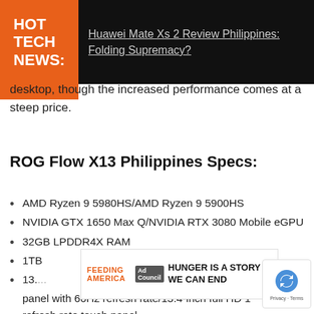HOT TECH NEWS: Huawei Mate Xs 2 Review Philippines: Folding Supremacy?
desktop, though the increased performance comes at a steep price.
ROG Flow X13 Philippines Specs:
AMD Ryzen 9 5980HS/AMD Ryzen 9 5900HS
NVIDIA GTX 1650 Max Q/NVIDIA RTX 3080 Mobile eGPU
32GB LPDDR4X RAM
1TB
13.4
panel with 60Hz refresh rate/13.4-inch full HD 1 refresh rate touch panel
[Figure (other): Feeding America Ad Council advertisement: HUNGER IS A STORY WE CAN END]